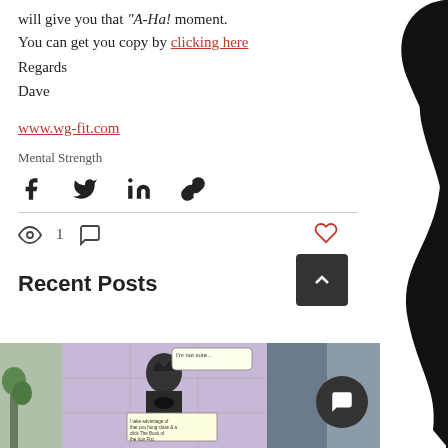will give you that "A-Ha! moment. You can get you copy by clicking here
Regards
Dave
www.wg-fit.com
Mental Strength
[Figure (infographic): Social share buttons: Facebook, Twitter, LinkedIn, Link icons]
1 view  0 comments  heart/like
Recent Posts
[Figure (photo): Partial thumbnails of recent blog post images including a comic book style illustration of Batman and a photo]